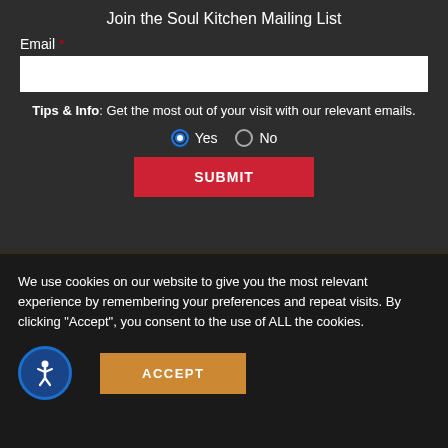Join the Soul Kitchen Mailing List
Email *
Tips & Info: Get the most out of your visit with our relevant emails.
Yes  No
SUBMIT
JUST ANNOUNCED
We use cookies on our website to give you the most relevant experience by remembering your preferences and repeat visits. By clicking "Accept", you consent to the use of ALL the cookies.
ACCEPT